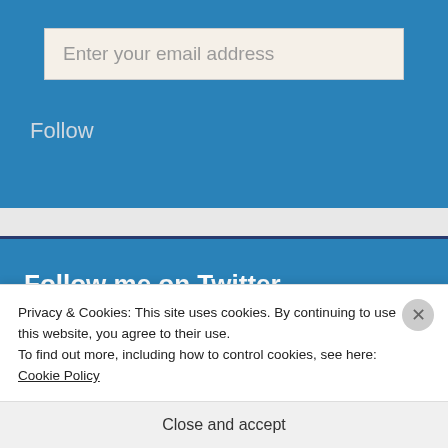Enter your email address
Follow
Follow me on Twitter
Privacy & Cookies: This site uses cookies. By continuing to use this website, you agree to their use.
To find out more, including how to control cookies, see here: Cookie Policy
Close and accept